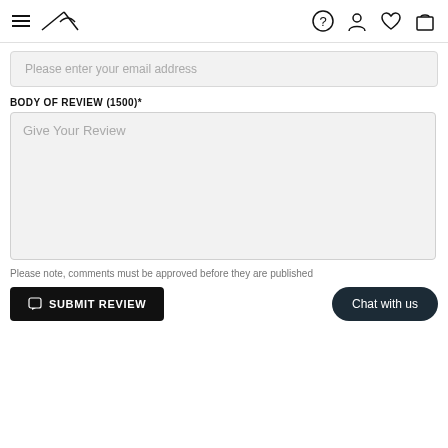Navigation header with hamburger menu, logo, help, account, wishlist, and cart icons
Please enter your email address
BODY OF REVIEW (1500)*
Give Your Review
Please note, comments must be approved before they are published
SUBMIT REVIEW
Chat with us